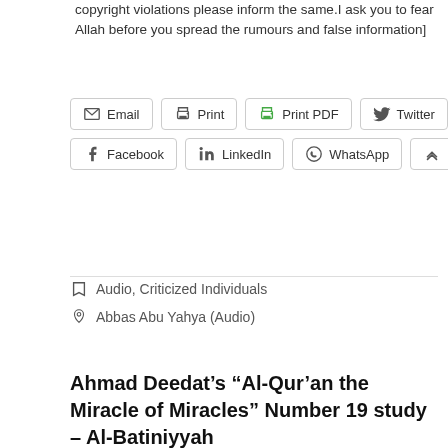copyright violations please inform the same.I ask you to fear Allah before you spread the rumours and false information]
[Figure (screenshot): Row of share buttons: Email, Print, Print PDF, Twitter, Facebook, LinkedIn, WhatsApp, More]
Audio, Criticized Individuals
Abbas Abu Yahya (Audio)
Ahmad Deedat's "Al-Qur'an the Miracle of Miracles" Number 19 study – Al-Batiniyyah